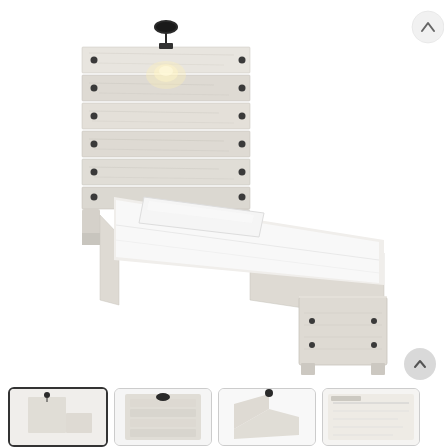[Figure (photo): A whitewashed/white wood finish twin bed with a tall plank-style headboard featuring a black industrial-style reading lamp attached at the top center. The bed has a matching white wood footboard. The mattress is dressed in white bedding with a single white pillow. The bed frame has a distressed wood grain finish in off-white/whitewash color.]
[Figure (photo): Thumbnail strip at bottom showing four small preview images of the same bed from different angles: full front view (selected/highlighted), close-up detail of headboard lamp, side angle, and a text/spec detail view.]